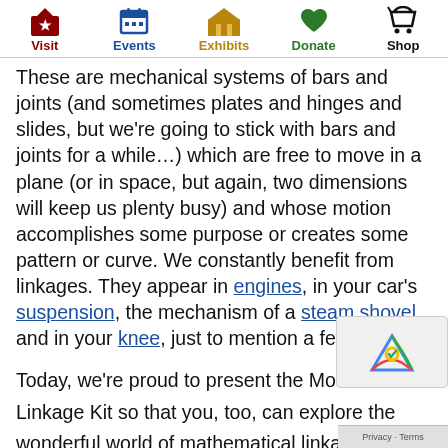Visit | Events | Exhibits | Donate | Shop
These are mechanical systems of bars and joints (and sometimes plates and hinges and slides, but we're going to stick with bars and joints for a while…) which are free to move in a plane (or in space, but again, two dimensions will keep us plenty busy) and whose motion accomplishes some purpose or creates some pattern or curve. We constantly benefit from linkages. They appear in engines, in your car's suspension, the mechanism of a steam shovel, and in your knee, just to mention a few places.
Today, we're proud to present the MoMath Linkage Kit so that you, too, can explore the wonderful world of mathematical linkages. You can download the PDF file of the pieces